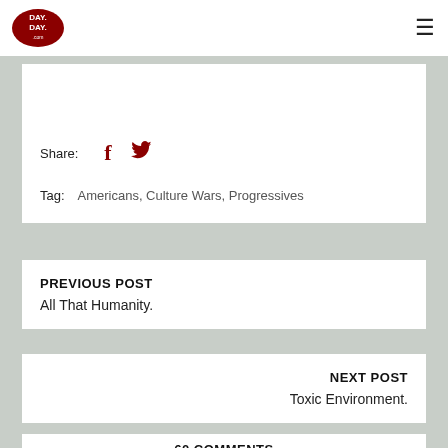Day Day (logo) + hamburger menu
Share:
Tag:    Americans, Culture Wars, Progressives
PREVIOUS POST
All That Humanity.
NEXT POST
Toxic Environment.
60 COMMENTS